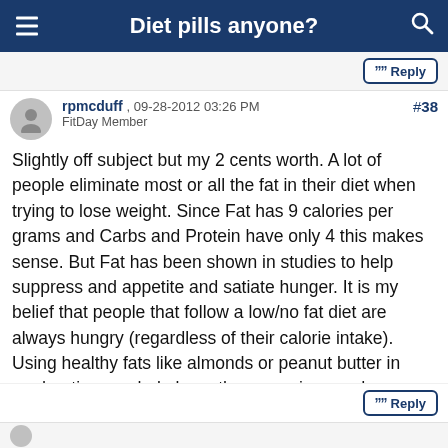Diet pills anyone?
rpmcduff , 09-28-2012 03:26 PM FitDay Member #38
Slightly off subject but my 2 cents worth. A lot of people eliminate most or all the fat in their diet when trying to lose weight. Since Fat has 9 calories per grams and Carbs and Protein have only 4 this makes sense. But Fat has been shown in studies to help suppress and appetite and satiate hunger. It is my belief that people that follow a low/no fat diet are always hungry (regardless of their calorie intake). Using healthy fats like almonds or peanut butter in moderation can help keep those cravings under control. Use whole eggs, not egg whites for their naturally occuring fats.